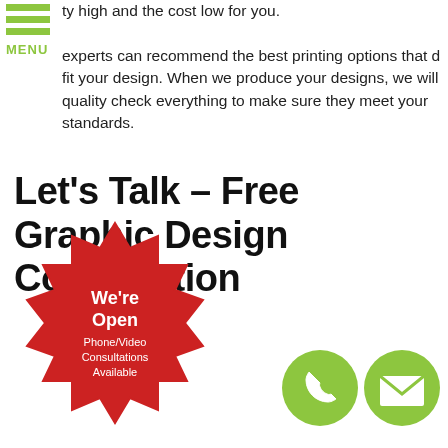[Figure (illustration): Green hamburger menu icon with three horizontal bars and MENU label]
ty high and the cost low for you. experts can recommend the best printing options that d fit your design. When we produce your designs, we will quality check everything to make sure they meet your standards.
Let's Talk – Free Graphic Design Consultation
[Figure (illustration): Red starburst badge with text: We're Open Phone/Video Consultations Available]
[Figure (illustration): Green circle with white phone handset icon]
[Figure (illustration): Green circle with white envelope/email icon]